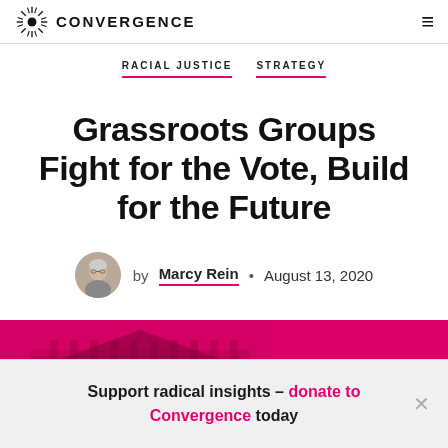CONVERGENCE
RACIAL JUSTICE   STRATEGY
Grassroots Groups Fight for the Vote, Build for the Future
by Marcy Rein • August 13, 2020
[Figure (photo): A pink/magenta-tinted hero image showing a building exterior and people at a rally]
Support radical insights – donate to Convergence today